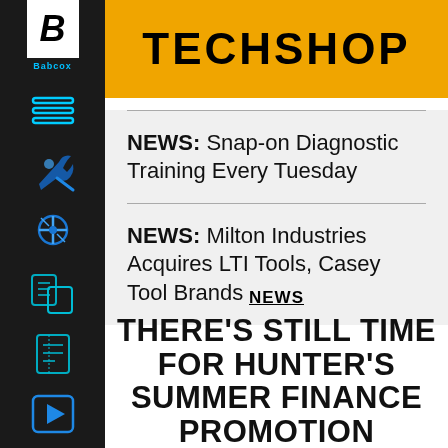TECHSHOP
NEWS: Snap-on Diagnostic Training Every Tuesday
NEWS: Milton Industries Acquires LTI Tools, Casey Tool Brands
NEWS
THERE'S STILL TIME FOR HUNTER'S SUMMER FINANCE PROMOTION